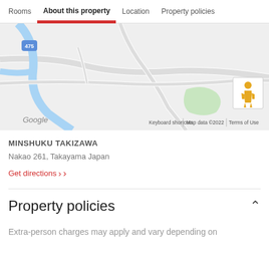Rooms   About this property   Location   Property policies
[Figure (map): Google Maps view showing Nakao area near Takayama, Japan. Road 475 visible in top left, rivers and roads visible, green park area visible in center-right. Street View pegman icon in top right corner. Google logo bottom left. Attribution: Keyboard shortcuts | Map data ©2022 | Terms of Use]
MINSHUKU TAKIZAWA
Nakao 261, Takayama Japan
Get directions ›
Property policies
Extra-person charges may apply and vary depending on